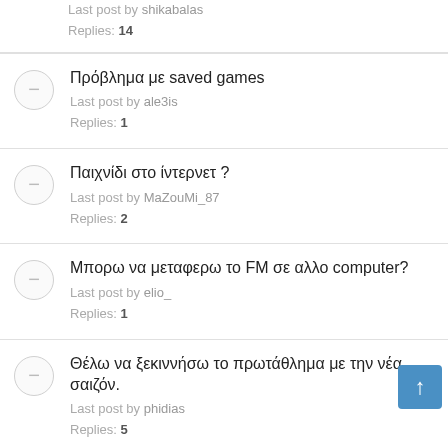Last post by shikabalas
Replies: 14
Πρόβλημα με saved games
Last post by ale3is
Replies: 1
Παιχνίδι στο ίντερνετ ?
Last post by MaZouMi_87
Replies: 2
Μπορω να μεταφερω το FM σε αλλο computer?
Last post by elio_
Replies: 1
Θέλω να ξεκιννήσω το πρωτάθλημα με την νέα σαιζόν.
Last post by phidias
Replies: 5